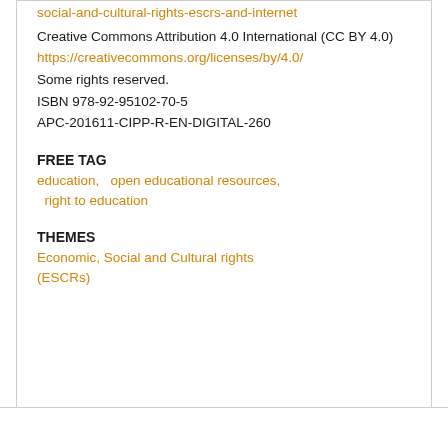social-and-cultural-rights-escrs-and-internet
Creative Commons Attribution 4.0 International (CC BY 4.0)
https://creativecommons.org/licenses/by/4.0/
Some rights reserved.
ISBN 978-92-95102-70-5
APC-201611-CIPP-R-EN-DIGITAL-260
FREE TAG
education,   open educational resources,  right to education
THEMES
Economic, Social and Cultural rights (ESCRs)